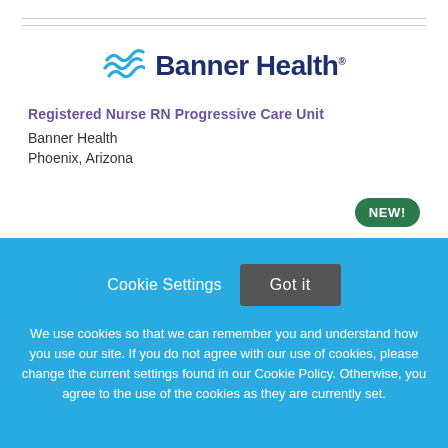[Figure (logo): Banner Health logo with wave icon and bold navy text]
Registered Nurse RN Progressive Care Unit
Banner Health
Phoenix, Arizona
NEW!
Cookie Settings
Got it
We use cookies so that we can remember you and understand how you use our site. If you do not agree with our use of cookies, please change the current settings found in our Cookie Policy. Otherwise, you agree to the use of the cookies as they are currently set.